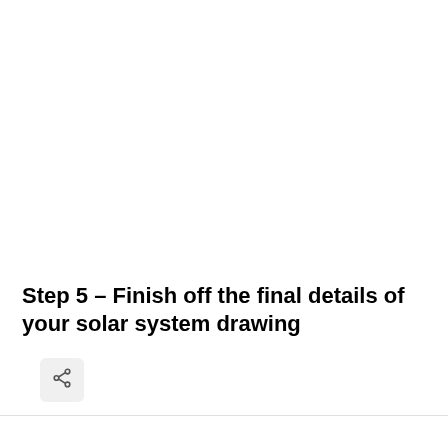Step 5 – Finish off the final details of your solar system drawing
[Figure (other): Share button icon (rounded square with share/network symbol)]
[Figure (other): Scroll-to-top button (rounded square with upward arrow)]
[Figure (other): Page number indicator showing '12' or similar]